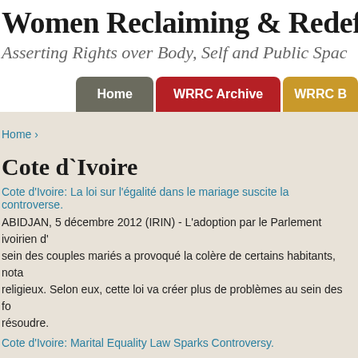Women Reclaiming & Redefining Cul…
Asserting Rights over Body, Self and Public Spac…
Home | WRRC Archive | WRRC B…
Home ›
Cote d`Ivoire
Cote d'Ivoire: La loi sur l'égalité dans le mariage suscite la controverse.
ABIDJAN, 5 décembre 2012 (IRIN) - L'adoption par le Parlement ivoirien d'… sein des couples mariés a provoqué la colère de certains habitants, nota… religieux. Selon eux, cette loi va créer plus de problèmes au sein des fo… résoudre.
Cote d'Ivoire: Marital Equality Law Sparks Controversy.